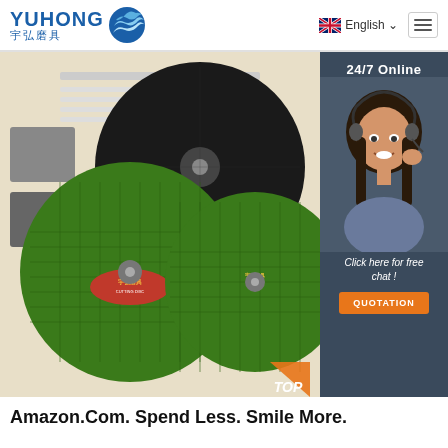[Figure (logo): YUHONG logo with blue wave/globe icon and Chinese characters 宇弘磨具]
[Figure (screenshot): Website screenshot showing Yuhong abrasive cutting discs (green and black grinding wheels) product photo with 24/7 Online chat sidebar featuring female agent, 'Click here for free chat!' text and orange QUOTATION button]
Amazon.Com. Spend Less. Smile More.